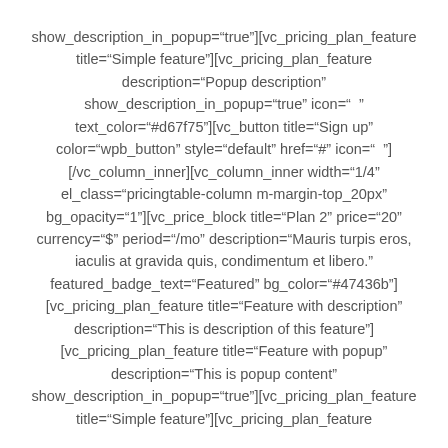show_description_in_popup="true"][vc_pricing_plan_feature title="Simple feature"][vc_pricing_plan_feature description="Popup description" show_description_in_popup="true" icon="  " text_color="#d67f75"][vc_button title="Sign up" color="wpb_button" style="default" href="#" icon="  "] [/vc_column_inner][vc_column_inner width="1/4" el_class="pricingtable-column m-margin-top_20px" bg_opacity="1"][vc_price_block title="Plan 2" price="20" currency="$" period="/mo" description="Mauris turpis eros, iaculis at gravida quis, condimentum et libero." featured_badge_text="Featured" bg_color="#47436b"] [vc_pricing_plan_feature title="Feature with description" description="This is description of this feature"] [vc_pricing_plan_feature title="Feature with popup" description="This is popup content" show_description_in_popup="true"][vc_pricing_plan_feature title="Simple feature"][vc_pricing_plan_feature